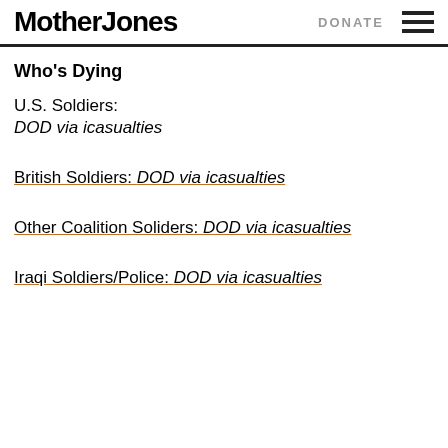Mother Jones | DONATE
Who's Dying
U.S. Soldiers:
DOD via icasualties
British Soldiers: DOD via icasualties
Other Coalition Soliders: DOD via icasualties
Iraqi Soldiers/Police: DOD via icasualties